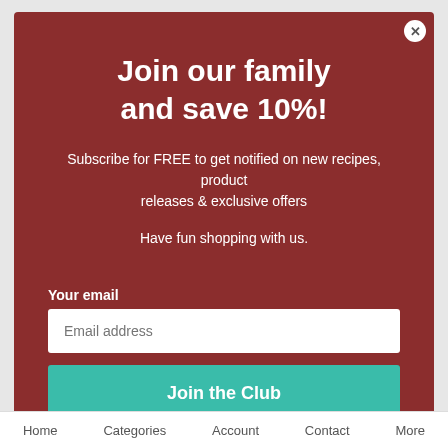Join our family and save 10%!
Subscribe for FREE to get notified on new recipes, product releases & exclusive offers
Have fun shopping with us.
Your email
Email address
Join the Club
Home   Categories   Account   Contact   More